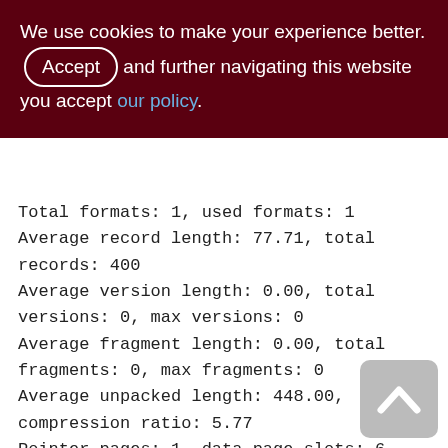We use cookies to make your experience better. By accepting and further navigating this website you accept our policy.
Total formats: 1, used formats: 1
Average record length: 77.71, total records: 400
Average version length: 0.00, total versions: 0, max versions: 0
Average fragment length: 0.00, total fragments: 0, max fragments: 0
Average unpacked length: 448.00, compression ratio: 5.77
Pointer pages: 1, data page slots: 6
Data pages: 6, average fill: 77%
Primary pages: 6, secondary pages: 0, swept pages: 0